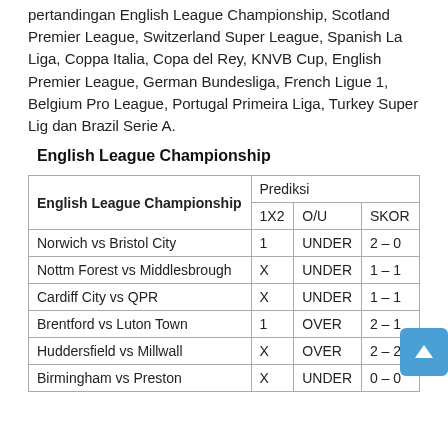pertandingan English League Championship, Scotland Premier League, Switzerland Super League, Spanish La Liga, Coppa Italia, Copa del Rey, KNVB Cup, English Premier League, German Bundesliga, French Ligue 1, Belgium Pro League, Portugal Primeira Liga, Turkey Super Lig dan Brazil Serie A.
English League Championship
| English League Championship | Prediksi |  |  |
| --- | --- | --- | --- |
|  | 1X2 | O/U | SKOR |
| Norwich vs Bristol City | 1 | UNDER | 2 – 0 |
| Nottm Forest vs Middlesbrough | X | UNDER | 1 – 1 |
| Cardiff City vs QPR | X | UNDER | 1 – 1 |
| Brentford vs Luton Town | 1 | OVER | 2 – 1 |
| Huddersfield vs Millwall | X | OVER | 2 – 2 |
| Birmingham vs Preston | X | UNDER | 0 – 0 |